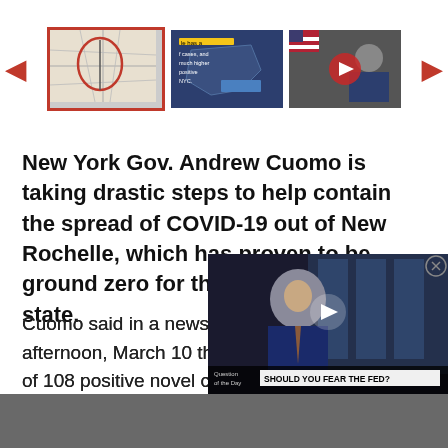[Figure (screenshot): Image carousel with three thumbnail images: a map with red circle, a COVID-19 case map, and a video thumbnail of Gov. Cuomo. Red left and right navigation arrows on sides.]
New York Gov. Andrew Cuomo is taking drastic steps to help contain the spread of COVID-19 out of New Rochelle, which has proven to be ground zero for the virus in New York state.
Cuomo said in a news conference on Tuesday afternoon, March 10 that there are now a total of 108 positive novel coronavirus cases in Westchester, all tracing back to an attorney who became the second person to contract the virus.
[Figure (screenshot): Embedded video overlay showing a man in a suit being interviewed, with a lower-third bar reading 'SHOULD YOU FEAR THE FED?' A close button (X in circle) appears in the top right corner.]